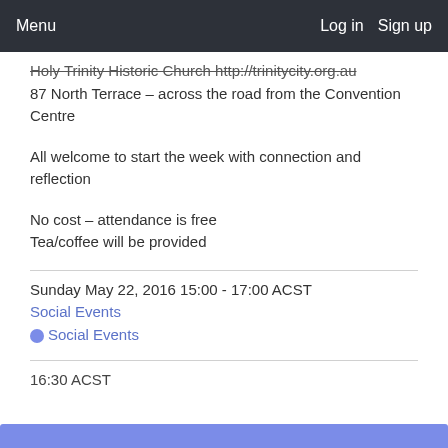Menu    Log in  Sign up
Holy Trinity Historic Church http://trinitycity.org.au
87 North Terrace – across the road from the Convention Centre
All welcome to start the week with connection and reflection
No cost – attendance is free
Tea/coffee will be provided
Sunday May 22, 2016 15:00 - 17:00 ACST
Social Events
Social Events
16:30 ACST